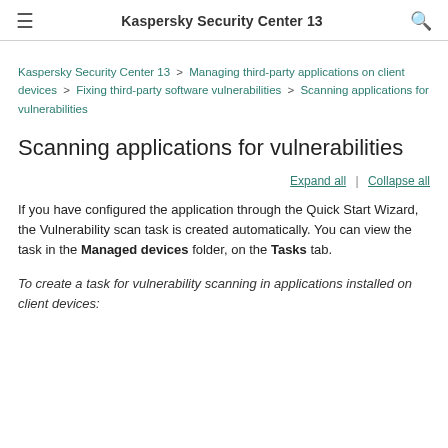Kaspersky Security Center 13
Kaspersky Security Center 13 > Managing third-party applications on client devices > Fixing third-party software vulnerabilities > Scanning applications for vulnerabilities
Scanning applications for vulnerabilities
Expand all | Collapse all
If you have configured the application through the Quick Start Wizard, the Vulnerability scan task is created automatically. You can view the task in the Managed devices folder, on the Tasks tab.
To create a task for vulnerability scanning in applications installed on client devices: